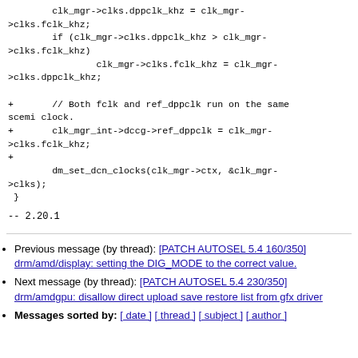clk_mgr->clks.dppclk_khz = clk_mgr->clks.fclk_khz;
        if (clk_mgr->clks.dppclk_khz > clk_mgr->clks.fclk_khz)
                clk_mgr->clks.fclk_khz = clk_mgr->clks.dppclk_khz;

+       // Both fclk and ref_dppclk run on the same scemi clock.
+       clk_mgr_int->dccg->ref_dppclk = clk_mgr->clks.fclk_khz;
+
        dm_set_dcn_clocks(clk_mgr->ctx, &clk_mgr->clks);
 }

--
2.20.1
Previous message (by thread): [PATCH AUTOSEL 5.4 160/350] drm/amd/display: setting the DIG_MODE to the correct value.
Next message (by thread): [PATCH AUTOSEL 5.4 230/350] drm/amdgpu: disallow direct upload save restore list from gfx driver
Messages sorted by: [ date ] [ thread ] [ subject ] [ author ]